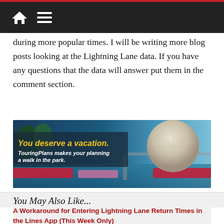Home | Menu navigation
during more popular times. I will be writing more blog posts looking at the Lightning Lane data. If you have any questions that the data will answer put them in the comment section.
[Figure (photo): TouringPlans advertisement banner showing Spaceship Earth (EPCOT) with text 'You deserve a vacation. TouringPlans makes your planning a walk in the park.']
You May Also Like...
A Workaround for Entering Lightning Lane Return Times in the Lines App (This Week Only)
[Figure (photo): Thumbnail image for related article, partially visible dark image]